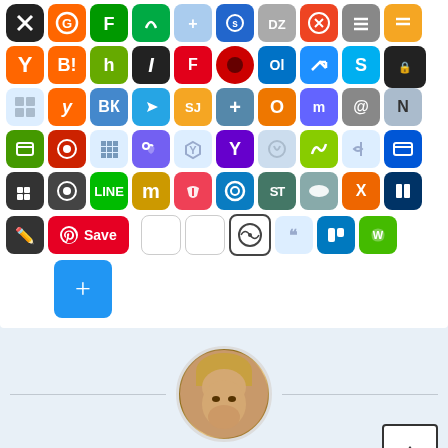[Figure (screenshot): Grid of social media sharing icons including Yahoo, Hatena, Houzz, Instapaper, Flipboard, Taxify, Outlook, Trello-like, Skype, and many others arranged in a 10x5 grid, plus Pinterest Save button, plus (+) button, WordPress, and WeChat icons]
[Figure (photo): Circular profile photo of Luis Alberto Rovira, a young man with light brown hair, smiling]
Luis Alberto Rovira